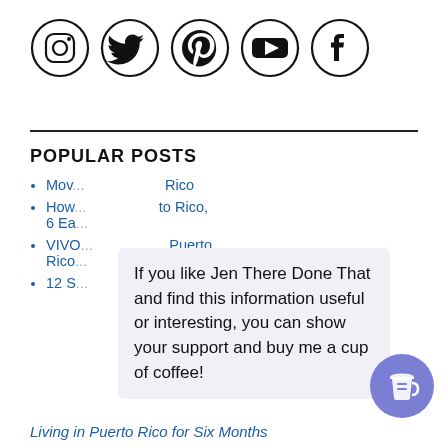[Figure (illustration): Row of 5 social media icons in circles: Instagram, Twitter, Pinterest, YouTube, Facebook]
POPULAR POSTS
Mov... Rico
How... to Rico, 6 Ea...
VIVO... , Puerto Rico... ae
12 S... cer
If you like Jen There Done That and find this information useful or interesting, you can show your support and buy me a cup of coffee!
Living in Puerto Rico for Six Months